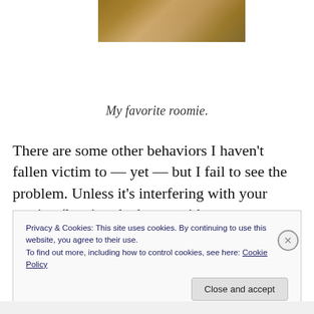[Figure (photo): Partial view of a movie poster or decorative image with warm brown tones at the top of the page]
My favorite roomie.
There are some other behaviors I haven’t fallen victim to — yet — but I fail to see the problem. Unless it’s interfering with your routine (leaving the house without
Privacy & Cookies: This site uses cookies. By continuing to use this website, you agree to their use.
To find out more, including how to control cookies, see here: Cookie Policy
Close and accept